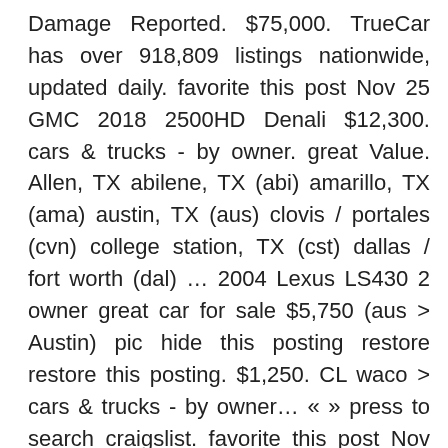Damage Reported. $75,000. TrueCar has over 918,809 listings nationwide, updated daily. favorite this post Nov 25 GMC 2018 2500HD Denali $12,300. cars & trucks - by owner. great Value. Allen, TX abilene, TX (abi) amarillo, TX (ama) austin, TX (aus) clovis / portales (cvn) college station, TX (cst) dallas / fort worth (dal) … 2004 Lexus LS430 2 owner great car for sale $5,750 (aus > Austin) pic hide this posting restore restore this posting. $1,250. CL waco > cars & trucks - by owner… « » press to search craigslist. favorite this post Nov 10 Kenworth W900 Home Seller Seminar. try the craigslist app » Android iOS CL. $5,700. galveston cars & trucks - by owner - craigslist. Research,